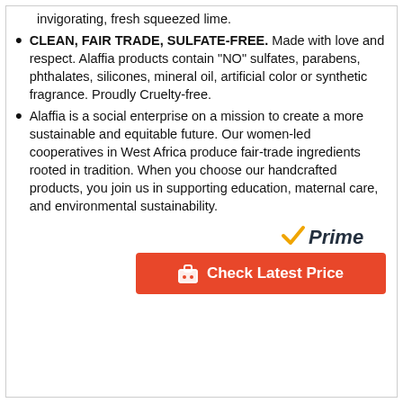invigorating, fresh squeezed lime.
CLEAN, FAIR TRADE, SULFATE-FREE. Made with love and respect. Alaffia products contain "NO" sulfates, parabens, phthalates, silicones, mineral oil, artificial color or synthetic fragrance. Proudly Cruelty-free.
Alaffia is a social enterprise on a mission to create a more sustainable and equitable future. Our women-led cooperatives in West Africa produce fair-trade ingredients rooted in tradition. When you choose our handcrafted products, you join us in supporting education, maternal care, and environmental sustainability.
[Figure (logo): Amazon Prime logo with orange checkmark and italic 'Prime' text in dark color]
Check Latest Price